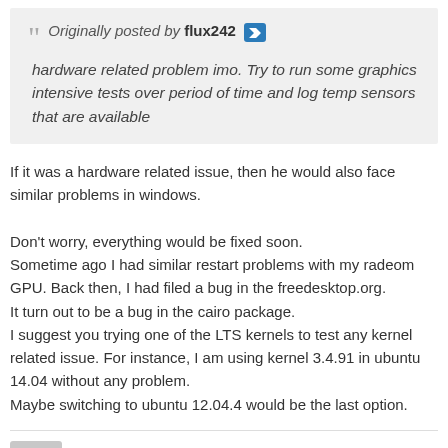Originally posted by flux242 — hardware related problem imo. Try to run some graphics intensive tests over period of time and log temp sensors that are available
If it was a hardware related issue, then he would also face similar problems in windows.

Don't worry, everything would be fixed soon.
Sometime ago I had similar restart problems with my radeom GPU. Back then, I had filed a bug in the freedesktop.org.
It turn out to be a bug in the cairo package.
I suggest you trying one of the LTS kernels to test any kernel related issue. For instance, I am using kernel 3.4.91 in ubuntu 14.04 without any problem.
Maybe switching to ubuntu 12.04.4 would be the last option.
Del_ replied
28 May 2014, 10:03 AM